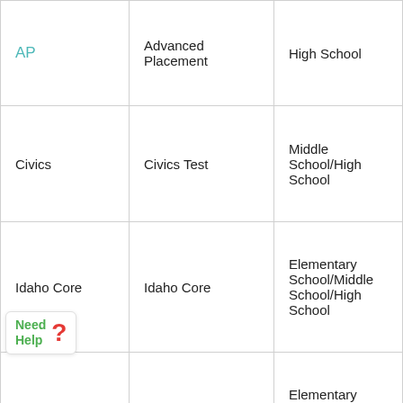| AP | Advanced Placement | High School |
| Civics | Civics Test | Middle School/High School |
| Idaho Core | Idaho Core | Elementary School/Middle School/High School |
| ISAT | Idaho Standards Achievement Test | Elementary School/Middle School/High School |
| SAT | SAT Test | High School |